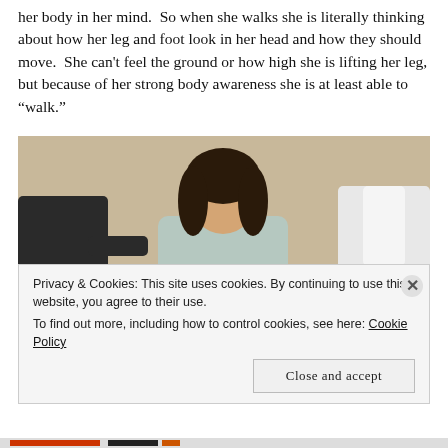her body in her mind.  So when she walks she is literally thinking about how her leg and foot look in her head and how they should move.  She can't feel the ground or how high she is lifting her leg, but because of her strong body awareness she is at least able to "walk."
[Figure (photo): A young woman in a hospital gown using a walker, assisted by two people on either side. She appears to be in a rehabilitation setting.]
Privacy & Cookies: This site uses cookies. By continuing to use this website, you agree to their use.
To find out more, including how to control cookies, see here: Cookie Policy
Close and accept